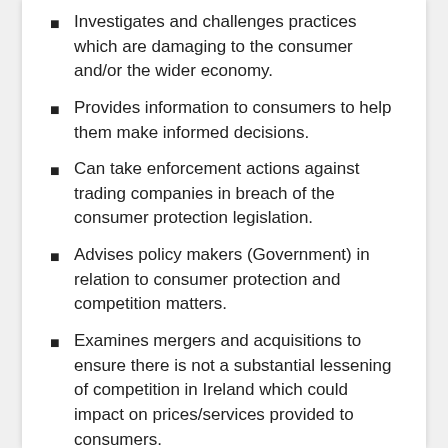Investigates and challenges practices which are damaging to the consumer and/or the wider economy.
Provides information to consumers to help them make informed decisions.
Can take enforcement actions against trading companies in breach of the consumer protection legislation.
Advises policy makers (Government) in relation to consumer protection and competition matters.
Examines mergers and acquisitions to ensure there is not a substantial lessening of competition in Ireland which could impact on prices/services provided to consumers.
Responsibility for market surveillance in relation to safety of products covered by